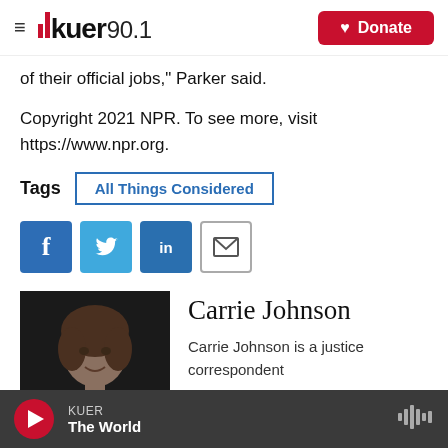KUER 90.1 — Donate
of their official jobs," Parker said.
Copyright 2021 NPR. To see more, visit https://www.npr.org.
Tags  All Things Considered
[Figure (infographic): Social sharing icons: Facebook, Twitter, LinkedIn, Email]
Carrie Johnson
Carrie Johnson is a justice correspondent
[Figure (photo): Headshot photo of Carrie Johnson, a woman with curly brown hair]
KUER  The World